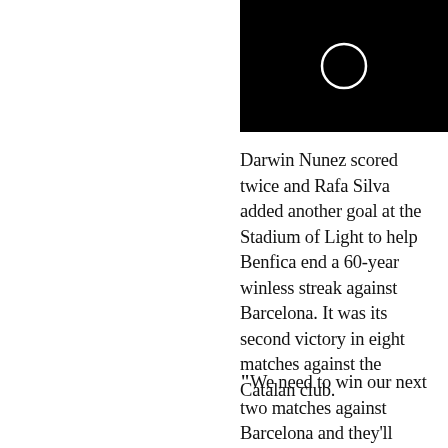[Figure (photo): Black rectangle with a white circle outline in the center, resembling a loading spinner or video thumbnail.]
Darwin Nunez scored twice and Rafa Silva added another goal at the Stadium of Light to help Benfica end a 60-year winless streak against Barcelona. It was its second victory in eight matches against the Catalan club.
“We need to win our next two matches against Barcelona and they’ll...